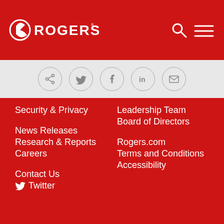[Figure (logo): Rogers logo in white on red background header bar with search and menu icons]
[Figure (infographic): Social sharing bar with share, Twitter, Facebook, LinkedIn, and email circle icons on light grey background]
Security & Privacy
Leadership Team
Board of Directors
News Releases
Research & Reports
Careers
Rogers.com
Terms and Conditions
Accessibility
Contact Us
Twitter